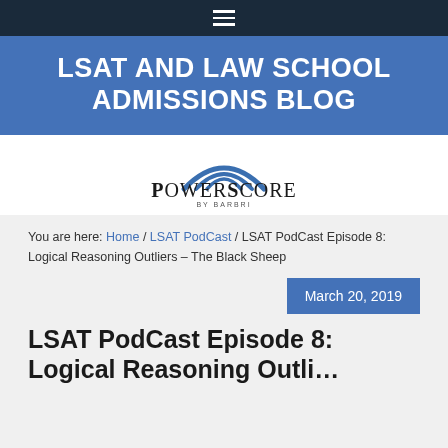≡
LSAT AND LAW SCHOOL ADMISSIONS BLOG
[Figure (logo): PowerScore by BARBRI logo — blue arc above the wordmark POWERSCORE with BY BARBRI below]
You are here: Home / LSAT PodCast / LSAT PodCast Episode 8: Logical Reasoning Outliers – The Black Sheep
March 20, 2019
LSAT PodCast Episode 8: Logical Reasoning Outli…